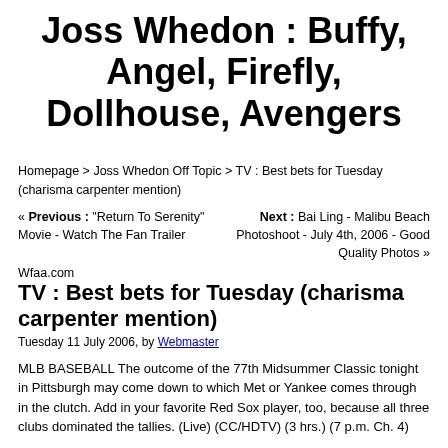Joss Whedon : Buffy, Angel, Firefly, Dollhouse, Avengers
Homepage > Joss Whedon Off Topic > TV : Best bets for Tuesday (charisma carpenter mention)
« Previous : "Return To Serenity" Movie - Watch The Fan Trailer    Next : Bai Ling - Malibu Beach Photoshoot - July 4th, 2006 - Good Quality Photos »
Wfaa.com
TV : Best bets for Tuesday (charisma carpenter mention)
Tuesday 11 July 2006, by Webmaster
MLB BASEBALL The outcome of the 77th Midsummer Classic tonight in Pittsburgh may come down to which Met or Yankee comes through in the clutch. Add in your favorite Red Sox player, too, because all three clubs dominated the tallies. (Live) (CC/HDTV) (3 hrs.) (7 p.m. Ch. 4)
DOG THE BOUNTY HUNTER We're betting you didn't